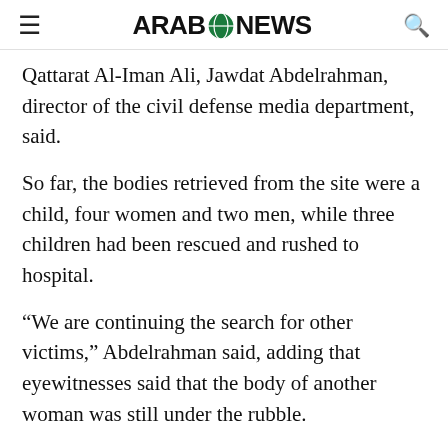ARAB NEWS
Qattarat Al-Iman Ali, Jawdat Abdelrahman, director of the civil defense media department, said.
So far, the bodies retrieved from the site were a child, four women and two men, while three children had been rescued and rushed to hospital.
“We are continuing the search for other victims,” Abdelrahman said, adding that eyewitnesses said that the body of another woman was still under the rubble.
Civil defense spokesman Nawas Sabah Shaker had said on Sunday that between six and eight